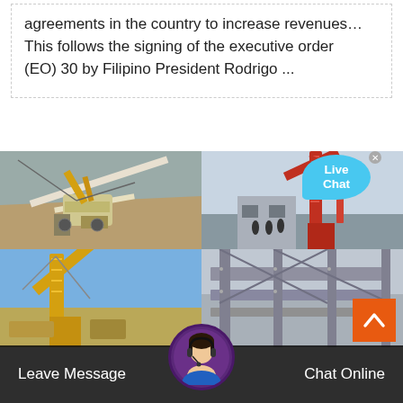agreements in the country to increase revenues… This follows the signing of the executive order (EO) 30 by Filipino President Rodrigo ...
[Figure (photo): Four mining/industrial equipment photos arranged in a 2x2 grid: top-left shows large open-pit mining conveyor/excavator equipment on sandy terrain; top-right shows red crane structure at an industrial facility with workers; bottom-left shows yellow excavator/crane against blue sky; bottom-right shows metal industrial structural components.]
Live Chat
Leave Message
Chat Online